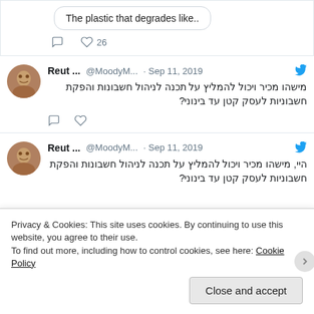The plastic that degrades like..
26
Reut ... @MoodyM... · Sep 11, 2019
מישהו מכיר ויכול להמליץ על תכנה לניהול חשבונות והפקת חשבוניות לעסק קטן עד בינוני?
Reut ... @MoodyM... · Sep 11, 2019
היי, מישהו מכיר ויכול להמליץ על תכנה לניהול חשבונות והפקת חשבוניות לעסק קטן עד בינוני?
Privacy & Cookies: This site uses cookies. By continuing to use this website, you agree to their use.
To find out more, including how to control cookies, see here: Cookie Policy
Close and accept